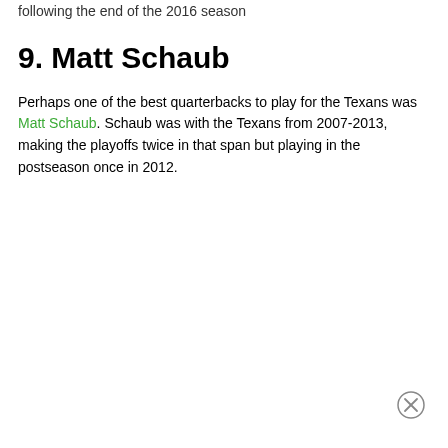following the end of the 2016 season
9. Matt Schaub
Perhaps one of the best quarterbacks to play for the Texans was Matt Schaub. Schaub was with the Texans from 2007-2013, making the playoffs twice in that span but playing in the postseason once in 2012.